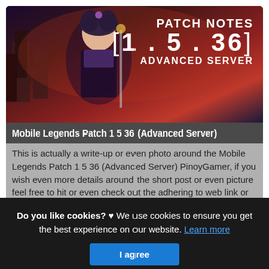[Figure (illustration): Mobile Legends game banner showing a female anime character with text 'PATCH NOTES [1.5.36] ADVANCED SERVER' on a dark fantasy background]
Mobile Legends Patch 1 5 36 (Advanced Server)
This is actually a write-up or even photo around the Mobile Legends Patch 1 5 36 (Advanced Server) PinoyGamer, if you wish even more details around the short post or even picture feel free to hit or even check out the adhering to web link or even web link . (Read More)
Source: pinoygamer.ph
Do you like cookies? ♥ We use cookies to ensure you get the best experience on our website. Learn more
I agree